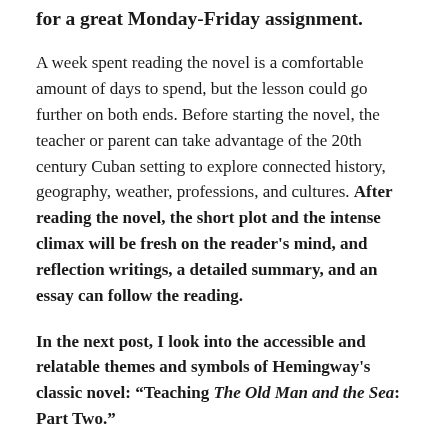for a great Monday-Friday assignment.
A week spent reading the novel is a comfortable amount of days to spend, but the lesson could go further on both ends. Before starting the novel, the teacher or parent can take advantage of the 20th century Cuban setting to explore connected history, geography, weather, professions, and cultures. After reading the novel, the short plot and the intense climax will be fresh on the reader's mind, and reflection writings, a detailed summary, and an essay can follow the reading.
In the next post, I look into the accessible and relatable themes and symbols of Hemingway's classic novel: “Teaching The Old Man and the Sea: Part Two.”
Tagged books, Ernest Hemingway, Hemingway, iceberg theory, learning, Literature, nature and man, novels, old man and the sea, reading, teaching, the old man and the sea, writing